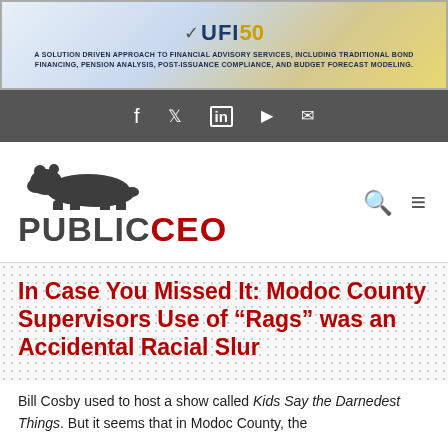[Figure (other): UFI 50 banner advertisement with tagline: A SOLUTION DRIVEN APPROACH TO FINANCIAL ADVISORY SERVICES, INCLUDING TRADITIONAL BOND FINANCING, PENSION ANALYSIS, POST-ISSUANCE COMPLIANCE, AND BUDGET FORECAST MODELING.]
[Figure (other): Social media icon bar with Facebook, Twitter, LinkedIn, YouTube, and Email icons on dark gray background]
[Figure (logo): PublicCEO logo with bear silhouette above the text, with search and menu icons on the right]
In Case You Missed It: Modoc County Supervisors Use of “Rags” was an Accidental Racial Slur
Bill Cosby used to host a show called Kids Say the Darnedest Things. But it seems that in Modoc County, the